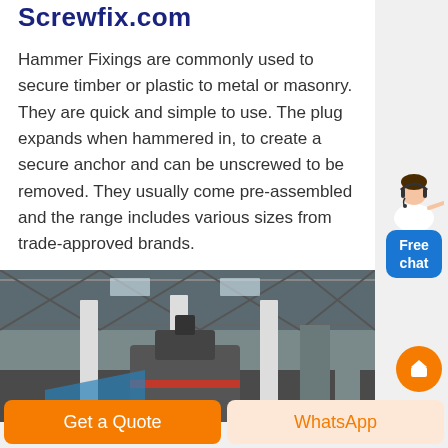Screwfix.com
Hammer Fixings are commonly used to secure timber or plastic to metal or masonry. They are quick and simple to use. The plug expands when hammered in, to create a secure anchor and can be unscrewed to be removed. They usually come pre-assembled and the range includes various sizes from trade-approved brands.
[Figure (photo): Industrial warehouse interior with large machinery and steel structure roof]
[Figure (illustration): Chat widget with customer service person avatar and Free chat button]
Get a Quote
WhatsApp